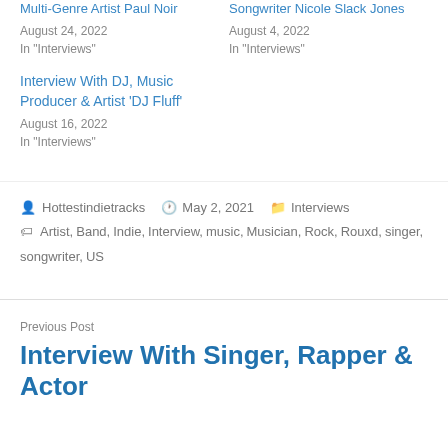Multi-Genre Artist Paul Noir
August 24, 2022
In "Interviews"
Songwriter Nicole Slack Jones
August 4, 2022
In "Interviews"
Interview With DJ, Music Producer & Artist 'DJ Fluff'
August 16, 2022
In "Interviews"
Post author: Hottestindietracks   Date: May 2, 2021   Filed Under: Interviews
Tags: Artist, Band, Indie, Interview, music, Musician, Rock, Rouxd, singer, songwriter, US
Previous Post
Interview With Singer, Rapper & Actor